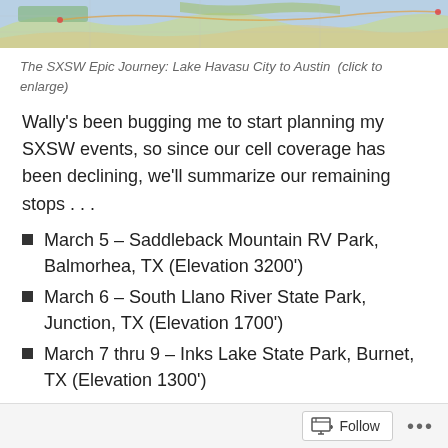[Figure (map): A map showing the route from Lake Havasu City to Austin for the SXSW Epic Journey]
The SXSW Epic Journey: Lake Havasu City to Austin  (click to enlarge)
Wally's been bugging me to start planning my SXSW events, so since our cell coverage has been declining, we'll summarize our remaining stops . . .
March 5 – Saddleback Mountain RV Park, Balmorhea, TX (Elevation 3200')
March 6 – South Llano River State Park, Junction, TX (Elevation 1700')
March 7 thru 9 – Inks Lake State Park, Burnet, TX (Elevation 1300')
March 10 thru 19 – Pecan Grove RV Park, Austin, TX (Elevation 500') – SXSW!!!